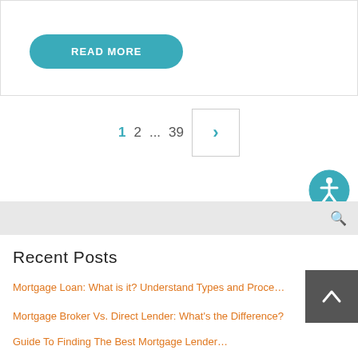READ MORE
1  2  ...  39  >
[Figure (other): Accessibility icon — circular teal icon with a person figure (wheelchair/accessibility symbol)]
Search bar
Recent Posts
Mortgage Loan: What is it? Understand Types and Process
Mortgage Broker Vs. Direct Lender: What's the Difference?
Guide To Finding The Best Mortgage Lender...